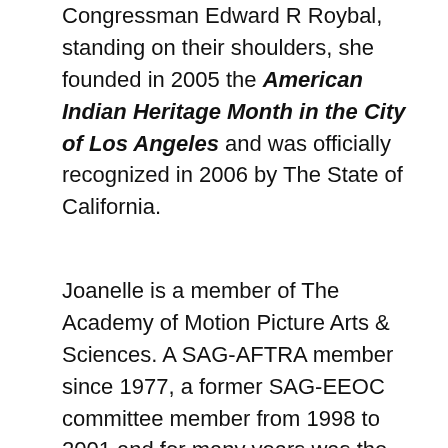Congressman Edward R Roybal, standing on their shoulders, she founded in 2005 the American Indian Heritage Month in the City of Los Angeles and was officially recognized in 2006 by The State of California.
Joanelle is a member of The Academy of Motion Picture Arts & Sciences. A SAG-AFTRA member since 1977, a former SAG-EEOC committee member from 1998 to 2001 and for many years was the only American Indian representing the native voice to the union. At SAG-AFTRA she produced panels “Where Are We (Native Americans) in Film, Television and Radio” (2000) and “Native Women in Film & Television”(2012). Joanelle is also a singer/songwriter discovered by the Legendary